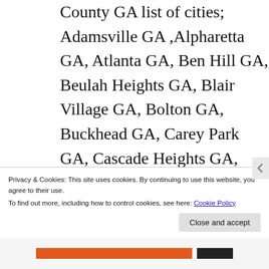County GA list of cities; Adamsville GA ,Alpharetta GA, Atlanta GA, Ben Hill GA, Beulah Heights GA, Blair Village GA, Bolton GA, Buckhead GA, Carey Park GA, Cascade Heights GA, Center Hill GA, Chattahoochee GA, Chattahoochee Hills GA, College Park GA, East Point GA, Fairburn GA, Five Points GA, Grove Park GA,
Privacy & Cookies: This site uses cookies. By continuing to use this website, you agree to their use. To find out more, including how to control cookies, see here: Cookie Policy